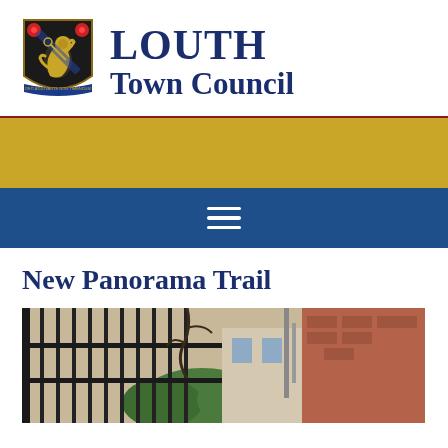[Figure (logo): Louth Town Council coat of arms shield with black background, golden lion rampant, and red decorative elements with a banner at the bottom]
LOUTH Town Council
[Figure (infographic): Gold/yellow horizontal banner bar]
[Figure (infographic): Dark blue navigation bar with white hamburger menu icon (three horizontal lines)]
New Panorama Trail
[Figure (photo): Photograph showing black iron railings/gates in the foreground with brick buildings and greenery visible behind them]